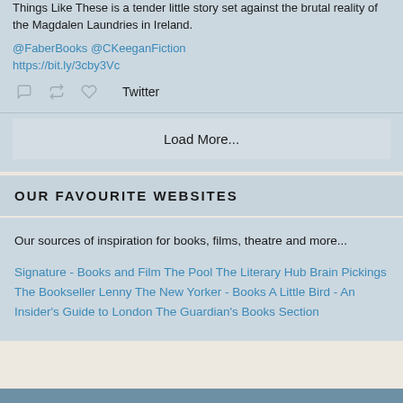Things Like These is a tender little story set against the brutal reality of the Magdalen Laundries in Ireland.
@FaberBooks @CKeeganFiction https://bit.ly/3cby3Vc
Load More...
OUR FAVOURITE WEBSITES
Our sources of inspiration for books, films, theatre and more...
Signature - Books and Film The Pool The Literary Hub Brain Pickings The Bookseller Lenny The New Yorker - Books A Little Bird - An Insider's Guide to London The Guardian's Books Section